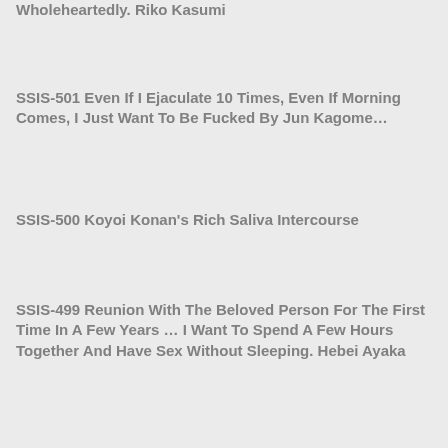Wholeheartedly. Riko Kasumi
SSIS-501 Even If I Ejaculate 10 Times, Even If Morning Comes, I Just Want To Be Fucked By Jun Kagome…
SSIS-500 Koyoi Konan's Rich Saliva Intercourse
SSIS-499 Reunion With The Beloved Person For The First Time In A Few Years … I Want To Spend A Few Hours Together And Have Sex Without Sleeping. Hebei Ayaka